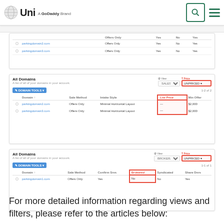[Figure (screenshot): Uni by GoDaddy website header with logo, search button, and hamburger menu]
[Figure (screenshot): All Domains panel (partial top): table showing parkingdomain2.com and parkingdomain3.com with Offers Only, Yes/Yes, No, Yes columns]
[Figure (screenshot): All Domains panel with SALES view and UNPRICED filter (highlighted in red). Table shows parkingdomain2.com and parkingdomain3.com with Offers Only, Minimal Horizontal Layout, -- List Price, $2,000 Min Offer. Count: 1-2 of 2]
[Figure (screenshot): All Domains panel with BROKERAGE view and UNPRICED filter (highlighted in red). Table shows parkingdomain1.com with Offers Only, Yes, No (Brokered highlighted in red), No, Yes. Count: 1-1 of 1]
For more detailed information regarding views and filters, please refer to the articles below: